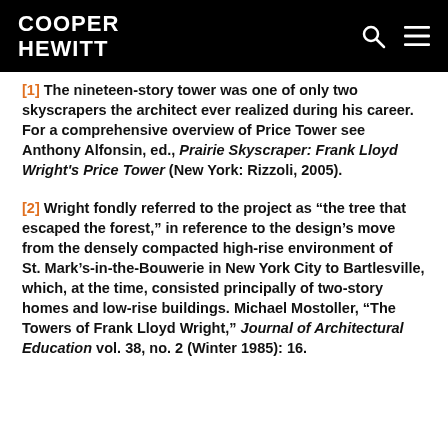COOPER HEWITT
[1] The nineteen-story tower was one of only two skyscrapers the architect ever realized during his career. For a comprehensive overview of Price Tower see Anthony Alfonsin, ed., Prairie Skyscraper: Frank Lloyd Wright's Price Tower (New York: Rizzoli, 2005).
[2] Wright fondly referred to the project as “the tree that escaped the forest,” in reference to the design’s move from the densely compacted high-rise environment of St. Mark’s-in-the-Bouwerie in New York City to Bartlesville, which, at the time, consisted principally of two-story homes and low-rise buildings. Michael Mostoller, “The Towers of Frank Lloyd Wright,” Journal of Architectural Education vol. 38, no. 2 (Winter 1985): 16.